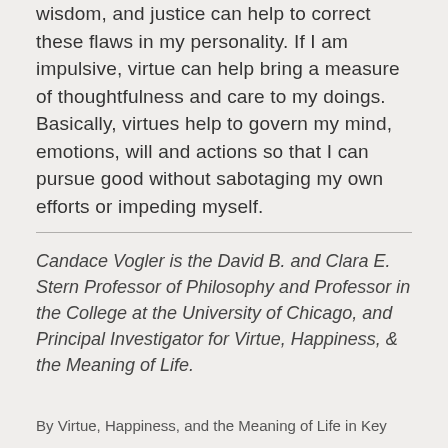wisdom, and justice can help to correct these flaws in my personality. If I am impulsive, virtue can help bring a measure of thoughtfulness and care to my doings. Basically, virtues help to govern my mind, emotions, will and actions so that I can pursue good without sabotaging my own efforts or impeding myself.
Candace Vogler is the David B. and Clara E. Stern Professor of Philosophy and Professor in the College at the University of Chicago, and Principal Investigator for Virtue, Happiness, & the Meaning of Life.
By Virtue, Happiness, and the Meaning of Life in Key